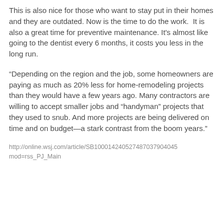This is also nice for those who want to stay put in their homes and they are outdated. Now is the time to do the work.  It is also a great time for preventive maintenance. It's almost like going to the dentist every 6 months, it costs you less in the long run.
“Depending on the region and the job, some homeowners are paying as much as 20% less for home-remodeling projects than they would have a few years ago. Many contractors are willing to accept smaller jobs and “handyman” projects that they used to snub. And more projects are being delivered on time and on budget—a stark contrast from the boom years.”
http://online.wsj.com/article/SB100014240527487037904045... mod=rss_PJ_Main